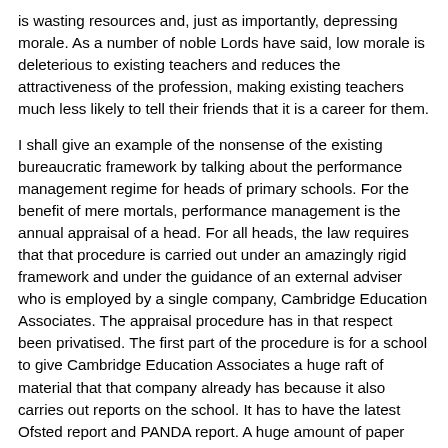is wasting resources and, just as importantly, depressing morale. As a number of noble Lords have said, low morale is deleterious to existing teachers and reduces the attractiveness of the profession, making existing teachers much less likely to tell their friends that it is a career for them.
I shall give an example of the nonsense of the existing bureaucratic framework by talking about the performance management regime for heads of primary schools. For the benefit of mere mortals, performance management is the annual appraisal of a head. For all heads, the law requires that that procedure is carried out under an amazingly rigid framework and under the guidance of an external adviser who is employed by a single company, Cambridge Education Associates. The appraisal procedure has in that respect been privatised. The first part of the procedure is for a school to give Cambridge Education Associates a huge raft of material that that company already has because it also carries out reports on the school. It has to have the latest Ofsted report and PANDA report. A huge amount of paper has to be produced and sent to the company.
The chosen adviser spends a morning at the school with two governors and the head to discuss the head's performance. The main purpose of that is to set targets for the year ahead. There have to be at least three targets, relating to leadership, pupil progress, and training and